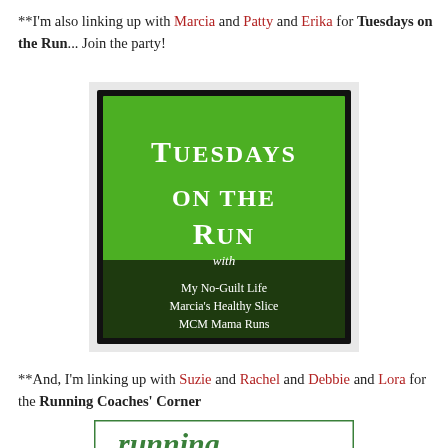**I'm also linking up with Marcia and Patty and Erika for Tuesdays on the Run... Join the party!
[Figure (logo): Tuesdays on the Run badge: green square with black border, white serif text reading 'Tuesdays on the Run with' and a dark green banner listing 'My No-Guilt Life, Marcia's Healthy Slice, MCM Mama Runs']
**And, I'm linking up with Suzie and Rachel and Debbie and Lora for the Running Coaches' Corner
[Figure (logo): Running Coaches' Corner badge, partially visible, showing 'running' in green letters]